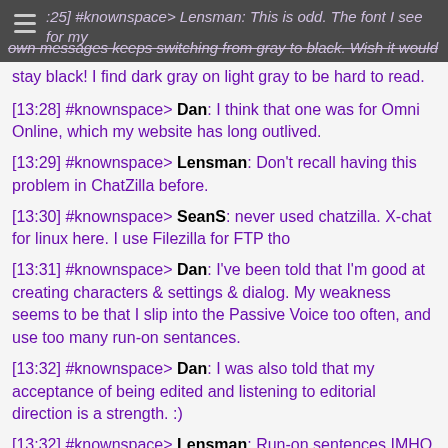[13:25] #knownspace> Lensman: This is odd. The font I see for my own messages keeps switching from gray to black. Wish it would stay black! I find dark gray on light gray to be hard to read.
[13:28] #knownspace> Dan: I think that one was for Omni Online, which my website has long outlived.
[13:29] #knownspace> Lensman: Don't recall having this problem in ChatZilla before.
[13:30] #knownspace> SeanS: never used chatzilla. X-chat for linux here. I use Filezilla for FTP tho
[13:31] #knownspace> Dan: I've been told that I'm good at creating characters & settings & dialog. My weakness seems to be that I slip into the Passive Voice too often, and use too many run-on sentances.
[13:32] #knownspace> Dan: I was also told that my acceptance of being edited and listening to editorial direction is a strength. :)
[13:32] #knownspace> Lensman: Run-on sentences IMHO is a pretty small vice. Heck, many or most Victorian writers used run-on sentences as a matter of course. You can find many examples of that in modern writing, too.